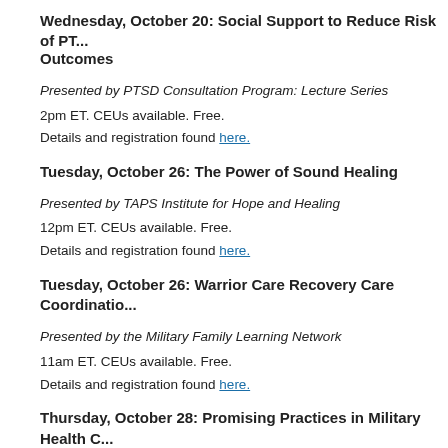12pm ET. Free. Details and registration found here.
Wednesday, October 20: Social Support to Reduce Risk of PT... Outcomes
Presented by PTSD Consultation Program: Lecture Series
2pm ET. CEUs available. Free.
Details and registration found here.
Tuesday, October 26: The Power of Sound Healing
Presented by TAPS Institute for Hope and Healing
12pm ET. CEUs available. Free.
Details and registration found here.
Tuesday, October 26: Warrior Care Recovery Care Coordinatio...
Presented by the Military Family Learning Network
11am ET. CEUs available. Free.
Details and registration found here.
Thursday, October 28: Promising Practices in Military Health C...